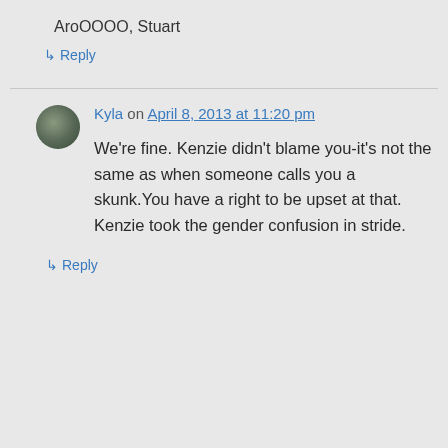AroOOOO, Stuart
↳ Reply
Kyla on April 8, 2013 at 11:20 pm
We're fine. Kenzie didn't blame you-it's not the same as when someone calls you a skunk.You have a right to be upset at that. Kenzie took the gender confusion in stride.
↳ Reply